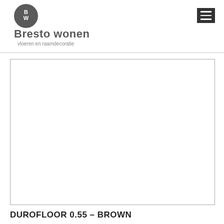[Figure (logo): Bresto Wonen circular logo with 'BW' initials in white on dark grey background]
Bresto wonen
vloeren en raamdecoratie
[Figure (photo): Product image placeholder — white rectangle with grey border (image not loaded)]
DUROFLOOR 0.55 – BROWN